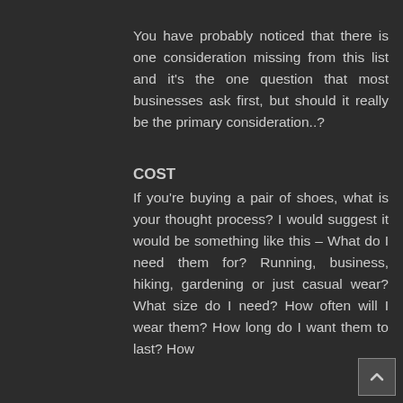You have probably noticed that there is one consideration missing from this list and it's the one question that most businesses ask first, but should it really be the primary consideration..?
COST
If you're buying a pair of shoes, what is your thought process? I would suggest it would be something like this – What do I need them for? Running, business, hiking, gardening or just casual wear? What size do I need? How often will I wear them? How long do I want them to last? How